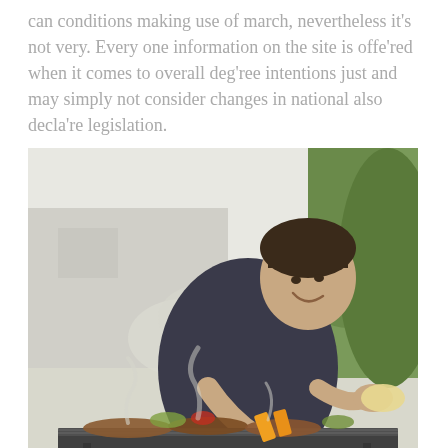can conditions making use of march, nevertheless it's not very. Every one information on the site is offe'red when it comes to overall deg'ree intentions just and may simply not consider changes in national also decla're legislation.
[Figure (photo): A smiling man leaning over an outdoor barbecue grill, tending to grilling meat and vegetables with smoke rising around him, green foliage in background.]
Assortment of is definitely a wealthy and to diminished-cost hobby, and you'll actually head for